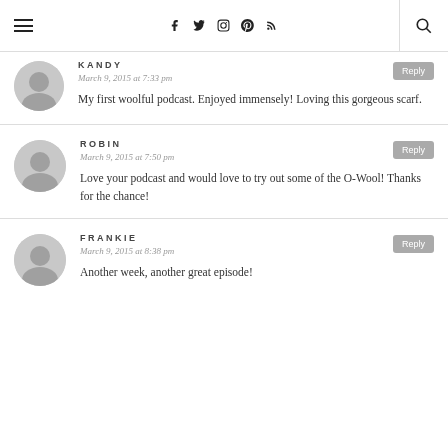Navigation header with hamburger menu, social icons (Facebook, Twitter, Instagram, Pinterest, RSS), and search
KANDY
March 9, 2015 at 7:33 pm
My first woolful podcast. Enjoyed immensely! Loving this gorgeous scarf.
ROBIN
March 9, 2015 at 7:50 pm
Love your podcast and would love to try out some of the O-Wool! Thanks for the chance!
FRANKIE
March 9, 2015 at 8:38 pm
Another week, another great episode!